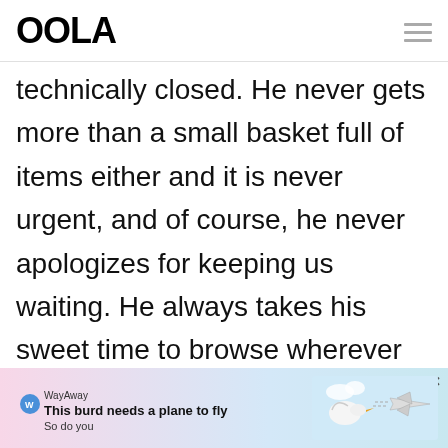OOLA
technically closed. He never gets more than a small basket full of items either and it is never urgent, and of course, he never apologizes for keeping us waiting. He always takes his sweet time to browse wherever he feels like.
[Figure (infographic): WayAway advertisement banner: 'This burd needs a plane to fly / So do you' with cartoon bird and airplane illustration]